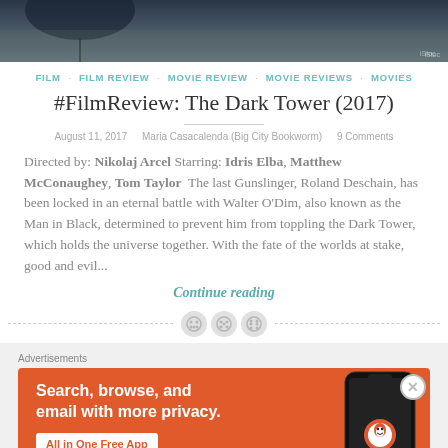[Figure (photo): Dark atmospheric hero image with blue-gray tones, partial view of a figure with umbrella]
FILM · FILM REVIEW · MOVIE REVIEW · MOVIE REVIEWS · MOVIES
#FilmReview: The Dark Tower (2017)
August 11, 2017   Maria Casacalenda (Big City Bookworm)   9 Comments
Directed by: Nikolaj Arcel Starring: Idris Elba, Matthew McConaughey, Tom Taylor  The last Gunslinger, Roland Deschain, has been locked in an eternal battle with Walter O'Dim, also known as the Man in Black, determined to prevent him from toppling the Dark Tower, which holds the universe together. With the fate of the worlds at stake, good and evil...
Continue reading
[Figure (other): Decorative divider with three circular button icons and dashed lines]
Advertisements
[Figure (other): DuckDuckGo advertisement banner: Search, browse, and email with more privacy. All in One Free App]